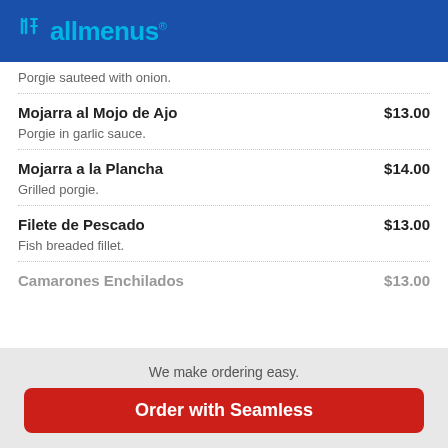allmenus
Porgie sauteed with onion.
Mojarra al Mojo de Ajo  $13.00
Porgie in garlic sauce.
Mojarra a la Plancha  $14.00
Grilled porgie.
Filete de Pescado  $13.00
Fish breaded fillet.
Camarones Enchilados  $13.00
We make ordering easy.
Order with Seamless